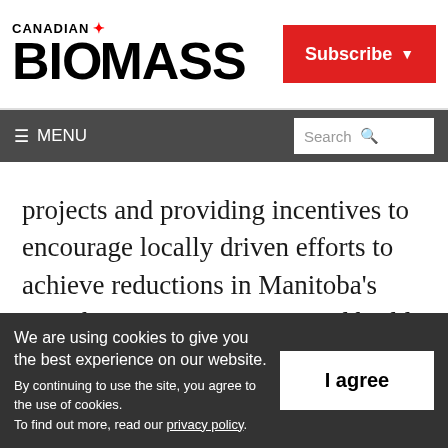[Figure (logo): Canadian Biomass magazine logo with maple leaf and Subscribe button]
≡ MENU  Search
projects and providing incentives to encourage locally driven efforts to achieve reductions in Manitoba's greenhouse-gas emissions and build toward sustainable, long-term changes.
We are using cookies to give you the best experience on our website. By continuing to use the site, you agree to the use of cookies. To find out more, read our privacy policy.